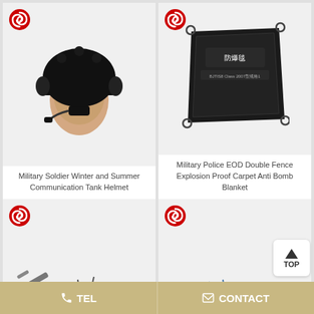[Figure (photo): Military tactical helmet worn on a mannequin head, black, with communication headset/microphone]
Military Soldier Winter and Summer Communication Tank Helmet
[Figure (photo): Black explosion-proof blanket/carpet laid flat with Chinese text on it, with loops at corners]
Military Police EOD Double Fence Explosion Proof Carpet Anti Bomb Blanket
[Figure (photo): EOD robot with mechanical arm and wheels, gray/black color]
[Figure (photo): Blue/teal military robot on tracks with arm holding a device, colorful]
TEL
CONTACT